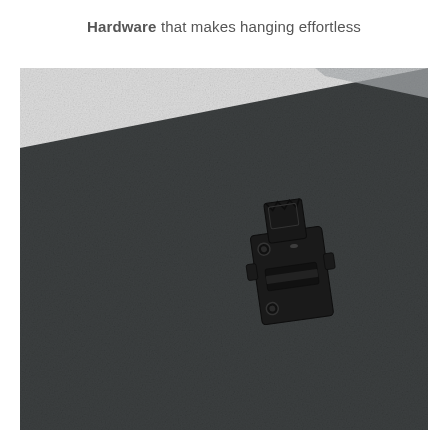Hardware that makes hanging effortless
[Figure (photo): Close-up photo of a black metal picture hanging hardware bracket mounted on the back of a dark charcoal/grey framed canvas or board. The bracket is a recessed D-ring or sawtooth-style hook mechanism with a rectangular base plate and a pivoting metal loop. The frame backing is a dark textured material. The top-right corner of the frame is visible against a light grey/white wall.]